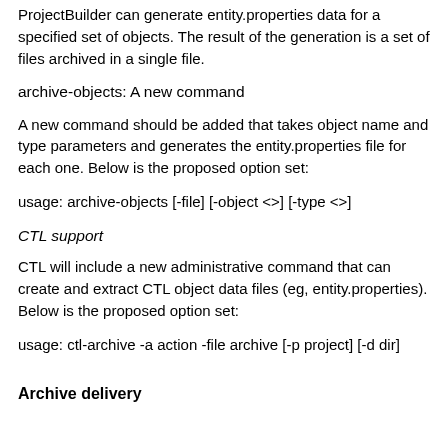ProjectBuilder can generate entity.properties data for a specified set of objects. The result of the generation is a set of files archived in a single file.
archive-objects: A new command
A new command should be added that takes object name and type parameters and generates the entity.properties file for each one. Below is the proposed option set:
usage: archive-objects [-file] [-object <>] [-type <>]
CTL support
CTL will include a new administrative command that can create and extract CTL object data files (eg, entity.properties). Below is the proposed option set:
usage: ctl-archive -a action -file archive [-p project] [-d dir]
Archive delivery